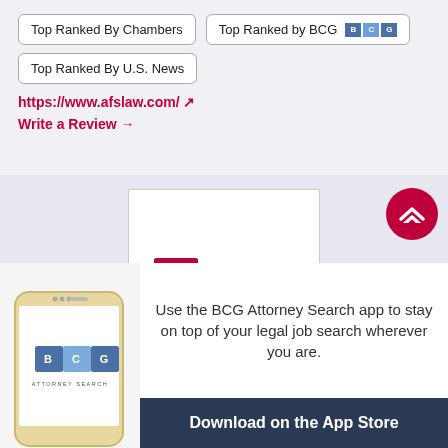Top Ranked By Chambers
Top Ranked by BCG
Top Ranked By U.S. News
https://www.afslaw.com/ ↗
Write a Review →
[Figure (logo): Arent Fox law firm logo in a white bordered box — red square icon with arrow and 'Arent Fox' text]
Use the BCG Attorney Search app to stay on top of your legal job search wherever you are.
Download on the App Store